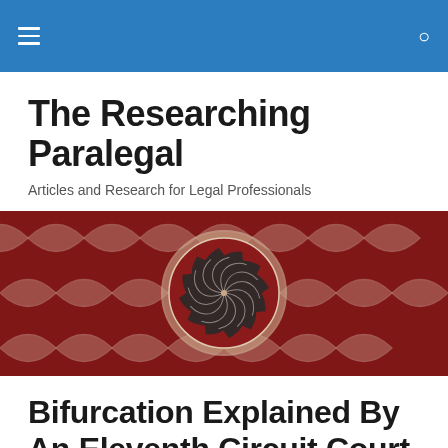☰  🔍
The Researching Paralegal
Articles and Research for Legal Professionals
[Figure (photo): Decorative banner image showing a red and white intricate mandala/fractal pattern with a central swirling spiral motif on a dark red background.]
Bifurcation Explained By An Eleventh Circuit Court Judge.